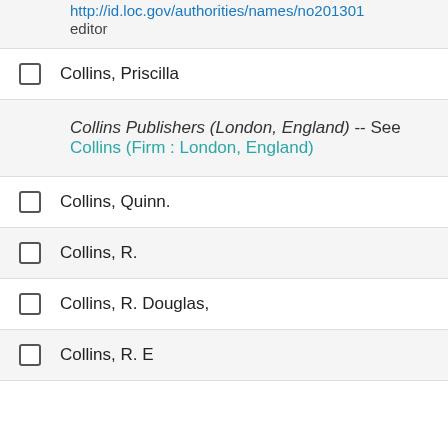http://id.loc.gov/authorities/names/no2013011... editor
Collins, Priscilla
Collins Publishers (London, England) -- See Collins (Firm : London, England)
Collins, Quinn.
Collins, R.
Collins, R. Douglas,
Collins, R. E